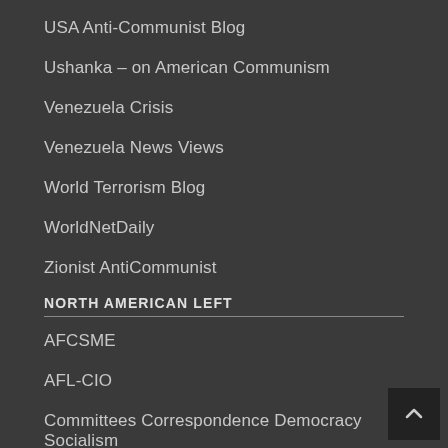USA Anti-Communist Blog
Ushanka – on American Communism
Venezuela Crisis
Venezuela News Views
World Terrorism Blog
WorldNetDaily
Zionist AntiCommunist
NORTH AMERICAN LEFT
AFCSME
AFL-CIO
Committees Correspondence Democracy Socialism